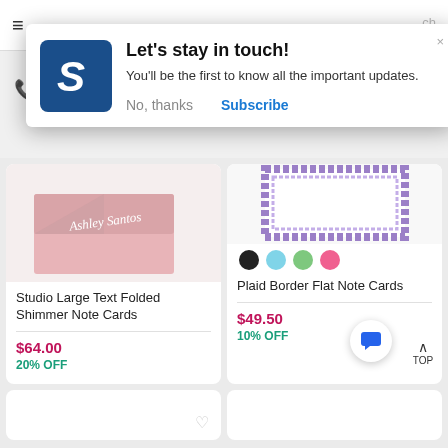[Figure (screenshot): Popup modal with logo, title 'Let's stay in touch!', body text, and Subscribe/No thanks buttons]
Let's stay in touch!
You'll be the first to know all the important updates.
No, thanks
Subscribe
Studio Large Text Folded Shimmer Note Cards
$64.00
20% OFF
Plaid Border Flat Note Cards
$49.50
10% OFF